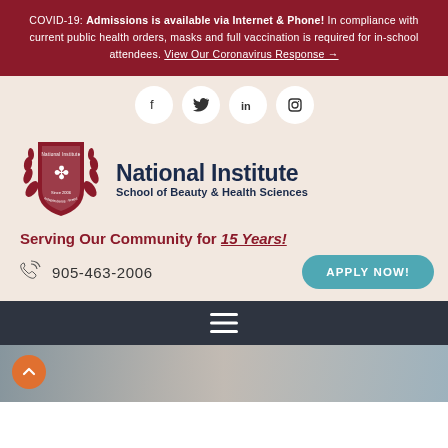COVID-19: Admissions is available via Internet & Phone! In compliance with current public health orders, masks and full vaccination is required for in-school attendees. View Our Coronavirus Response →
[Figure (logo): Social media icons: Facebook, Twitter, LinkedIn, Instagram in white circles]
[Figure (logo): National Institute School of Beauty & Health Sciences shield logo with crest and laurels]
National Institute School of Beauty & Health Sciences
Serving Our Community for 15 Years!
905-463-2006
APPLY NOW!
[Figure (photo): Bottom strip showing a blurred interior photo with an orange back-to-top button]